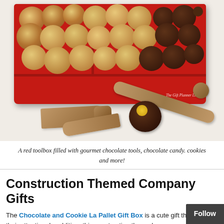[Figure (photo): A red toolbox filled with gourmet chocolate chip cookies and chocolate-dipped cookies decorated as tools (hammer, wrench, screwdriver), with chocolate candy tools (saw, wrench, screwdriver) laid in front of the toolbox on a white background. The Gift Planner LLC logo is visible on the side of the toolbox.]
A red toolbox filled with gourmet chocolate tools, chocolate candy. cookies and more!
Construction Themed Company Gifts
The Chocolate and Cookie La Pallet Gift Box is a cute gift that will get their attention. In addition, this construction themed company